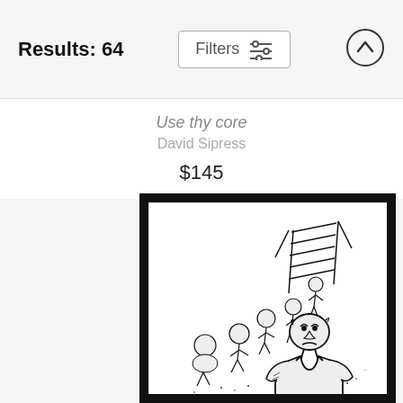Results: 64
Use thy core
David Sipress
$145
[Figure (illustration): Black and white cartoon illustration framed in a thick black border showing a muscular stern-looking trainer/coach figure in a tank top running, with several smaller round-bodied figures following behind in a line, leading up to a wooden ladder/frame structure in the background. The style is pen-and-ink caricature.]